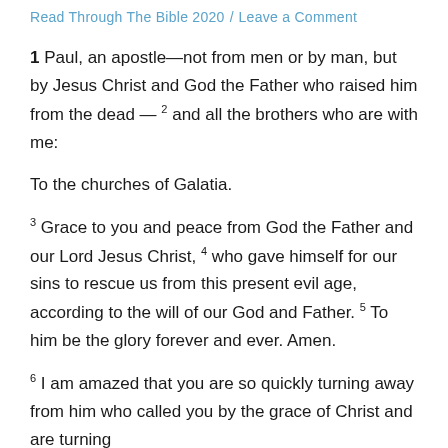Read Through The Bible 2020 / Leave a Comment
1 Paul, an apostle—not from men or by man, but by Jesus Christ and God the Father who raised him from the dead — 2 and all the brothers who are with me:
To the churches of Galatia.
3 Grace to you and peace from God the Father and our Lord Jesus Christ, 4 who gave himself for our sins to rescue us from this present evil age, according to the will of our God and Father. 5 To him be the glory forever and ever. Amen.
6 I am amazed that you are so quickly turning away from him who called you by the grace of Christ and are turning